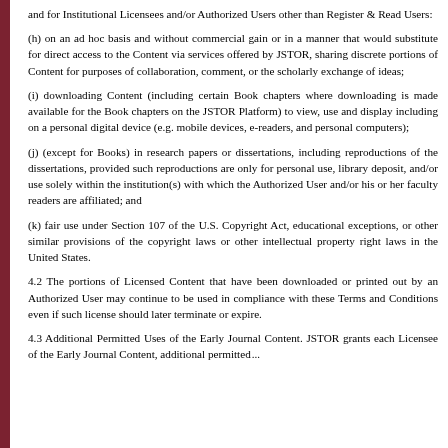and for Institutional Licensees and/or Authorized Users other than Register & Read Users:
(h) on an ad hoc basis and without commercial gain or in a manner that would substitute for direct access to the Content via services offered by JSTOR, sharing discrete portions of Content for purposes of collaboration, comment, or the scholarly exchange of ideas;
(i) downloading Content (including certain Book chapters where downloading is made available for the Book chapters on the JSTOR Platform) to view, use and display including on a personal digital device (e.g. mobile devices, e-readers, and personal computers);
(j) (except for Books) in research papers or dissertations, including reproductions of the dissertations, provided such reproductions are only for personal use, library deposit, and/or use solely within the institution(s) with which the Authorized User and/or his or her faculty readers are affiliated; and
(k) fair use under Section 107 of the U.S. Copyright Act, educational exceptions, or other similar provisions of the copyright laws or other intellectual property right laws in the United States.
4.2 The portions of Licensed Content that have been downloaded or printed out by an Authorized User may continue to be used in compliance with these Terms and Conditions even if such license should later terminate or expire.
4.3 Additional Permitted Uses of the Early Journal Content. JSTOR grants each Licensee of the Early Journal Content, additional permitted...